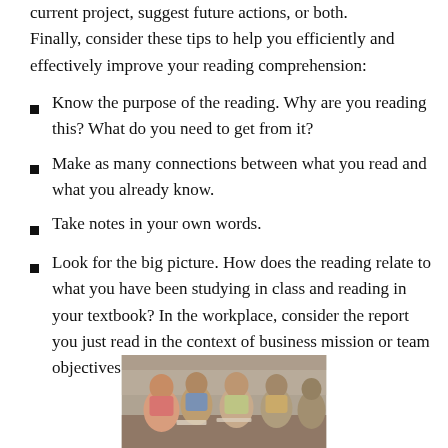current project, suggest future actions, or both. Finally, consider these tips to help you efficiently and effectively improve your reading comprehension:
Know the purpose of the reading. Why are you reading this? What do you need to get from it?
Make as many connections between what you read and what you already know.
Take notes in your own words.
Look for the big picture. How does the reading relate to what you have been studying in class and reading in your textbook? In the workplace, consider the report you just read in the context of business mission or team objectives.
[Figure (photo): A group of people sitting around a table, appearing to be studying or discussing together in a library or classroom setting.]